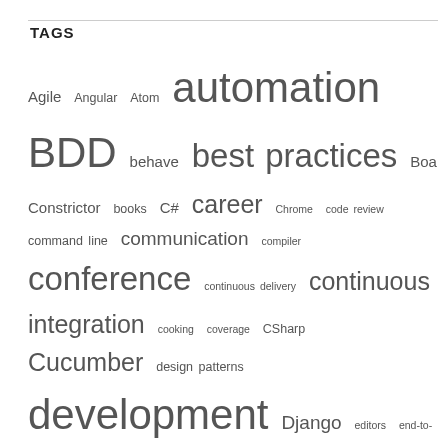TAGS
Agile Angular Atom automation BDD behave best practices Boa Constrictor books C# career Chrome code review command line communication compiler conference continuous delivery continuous integration cooking coverage CSharp Cucumber design patterns development Django editors end-to-end Example Mapping exploratory testing frameworks Gherkin Git integration Jasmine Java JavaScript Jenkins Karma languages mentoring metrics Notepad++ opportunity parallel performance Perl process Protractor PyCharm PyCon PyOhio pytest Python quality REST Ruby Screenplay Selenium shift-left SpecFlow TDD teamwork test data testing Testing Pyramid Three Amigos tools travel unit video games Visual